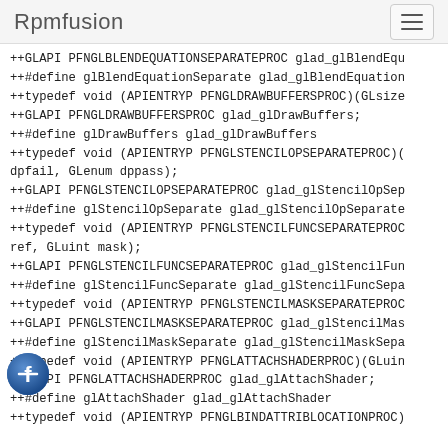Rpmfusion
++GLAPI PFNGLBLENDEQUATIONSEPARATEPROC glad_glBlendEqu
++#define glBlendEquationSeparate glad_glBlendEquation
++typedef void (APIENTRYP PFNGLDRAWBUFFERSPROC)(GLsize
++GLAPI PFNGLDRAWBUFFERSPROC glad_glDrawBuffers;
++#define glDrawBuffers glad_glDrawBuffers
++typedef void (APIENTRYP PFNGLSTENCILOPSEPARATEPROC)(
dpfail, GLenum dppass);
++GLAPI PFNGLSTENCILOPSEPARATEPROC glad_glStencilOpSep
++#define glStencilOpSeparate glad_glStencilOpSeparate
++typedef void (APIENTRYP PFNGLSTENCILFUNCSEPARATEPROC
ref, GLuint mask);
++GLAPI PFNGLSTENCILFUNCSEPARATEPROC glad_glStencilFun
++#define glStencilFuncSeparate glad_glStencilFuncSepa
++typedef void (APIENTRYP PFNGLSTENCILMASKSEPARATEPROC
++GLAPI PFNGLSTENCILMASKSEPARATEPROC glad_glStencilMas
++#define glStencilMaskSeparate glad_glStencilMaskSepa
++typedef void (APIENTRYP PFNGLATTACHSHADERPROC)(GLuin
++GLAPI PFNGLATTACHSHADERPROC glad_glAttachShader;
++#define glAttachShader glad_glAttachShader
++typedef void (APIENTRYP PFNGLBINDATTRIBLOCATIONPROC)